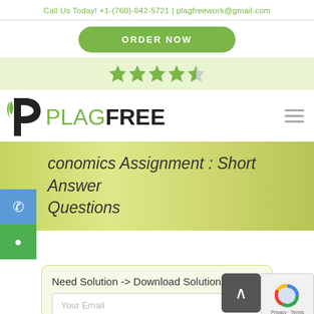Call Us Today! +1-(760)-642-5721 | plagfreework@gmail.com
ORDER NOW
[Figure (other): Star rating graphic showing 4.5 stars and rating 4.9]
[Figure (logo): PlagFree logo with green P icon and PLAGFREE text]
Economics Assignment : Short Answer Questions
Need Solution -> Download Solution Here
Your Email